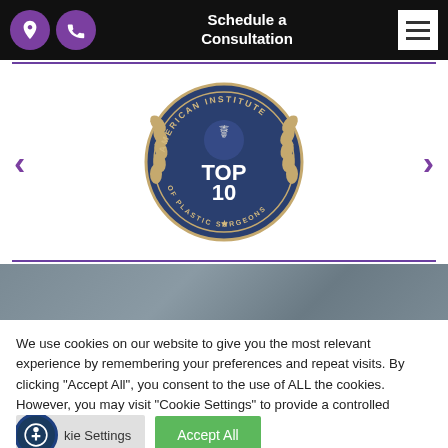Schedule a Consultation
[Figure (logo): American Institute of Plastic Surgeons TOP 10 circular seal/badge with laurel wreath border]
[Figure (photo): Gray/blue toned background section below carousel]
We use cookies on our website to give you the most relevant experience by remembering your preferences and repeat visits. By clicking "Accept All", you consent to the use of ALL the cookies. However, you may visit "Cookie Settings" to provide a controlled consent.
Cookie Settings  Accept All